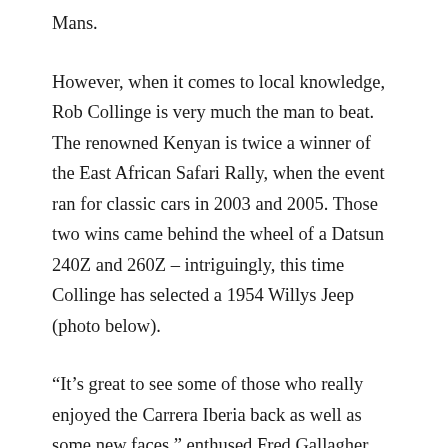Mans.
However, when it comes to local knowledge, Rob Collinge is very much the man to beat. The renowned Kenyan is twice a winner of the East African Safari Rally, when the event ran for classic cars in 2003 and 2005. Those two wins came behind the wheel of a Datsun 240Z and 260Z – intriguingly, this time Collinge has selected a 1954 Willys Jeep (photo below).
“It’s great to see some of those who really enjoyed the Carrera Iberia back as well as some new faces,” enthused Fred Gallagher, Rally the Globe’s vastly experienced and internationally respected Rally Director – himself a multiple winner of the Safari Rally